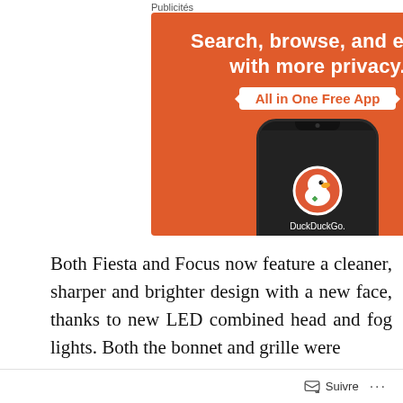Publicités
[Figure (screenshot): DuckDuckGo advertisement banner on orange background showing smartphone with DuckDuckGo app. Headline: 'Search, browse, and email with more privacy. All in One Free App']
Both Fiesta and Focus now feature a cleaner, sharper and brighter design with a new face, thanks to new LED combined head and fog lights. Both the bonnet and grille were
Suivre ...